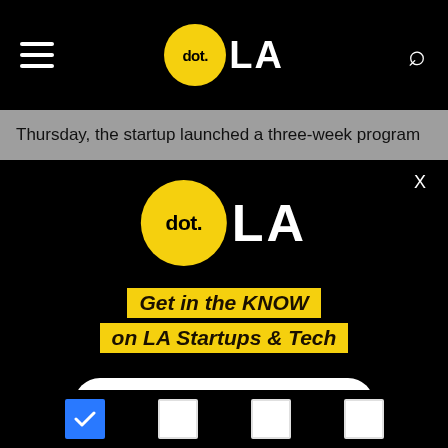dot.LA
Thursday, the startup launched a three-week program
[Figure (logo): dot.LA logo — yellow circle with 'dot.' text and 'LA' in white, on black background, inside modal overlay with X close button]
Get in the KNOW on LA Startups & Tech
Email